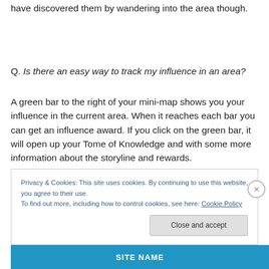have discovered them by wandering into the area though.
Q. Is there an easy way to track my influence in an area?
A green bar to the right of your mini-map shows you your influence in the current area. When it reaches each bar you can get an influence award. If you click on the green bar, it will open up your Tome of Knowledge and with some more information about the storyline and rewards.
Privacy & Cookies: This site uses cookies. By continuing to use this website, you agree to their use.
To find out more, including how to control cookies, see here: Cookie Policy
Close and accept